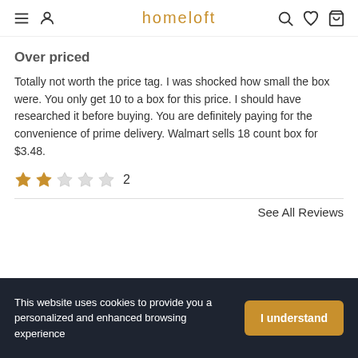homeloft
Over priced
Totally not worth the price tag. I was shocked how small the box were. You only get 10 to a box for this price. I should have researched it before buying. You are definitely paying for the convenience of prime delivery. Walmart sells 18 count box for $3.48.
★★☆☆☆ 2
See All Reviews
This website uses cookies to provide you a personalized and enhanced browsing experience
I understand